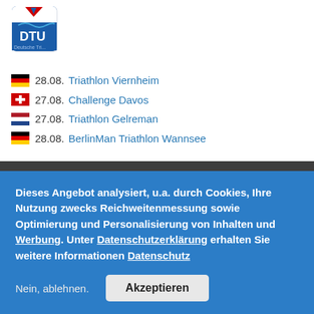[Figure (logo): DTU Deutsche Triathlon Union logo - blue shield with DTU text and mountain/wave graphic]
28.08. Triathlon Viernheim
27.08. Challenge Davos
27.08. Triathlon Gelreman
28.08. BerlinMan Triathlon Wannsee
Triathlon Ergebnisse 2022
News zum Triathlon Sport und Aktuelles aus der Triathlon Bundesliga, zur
Dieses Angebot analysiert, u.a. durch Cookies, Ihre Nutzung zwecks Reichweitenmessung sowie Optimierung und Personalisierung von Inhalten und Werbung. Unter Datenschutzerklärung erhalten Sie weitere Informationen Datenschutz
Nein, ablehnen.
Akzeptieren